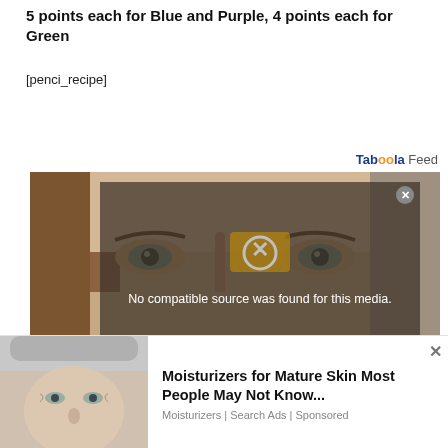5 points each for Blue and Purple, 4 points each for Green
[penci_recipe]
Taboola Feed
[Figure (photo): Close-up photo of a face (eyes and forehead area), with a video player overlay showing 'No compatible source was found for this media.' and an X error icon.]
[Figure (photo): Advertisement banner with a photo of a mature woman's face and text 'Moisturizers for Mature Skin Most People May Not Know...' from Moisturizers | Search Ads | Sponsored]